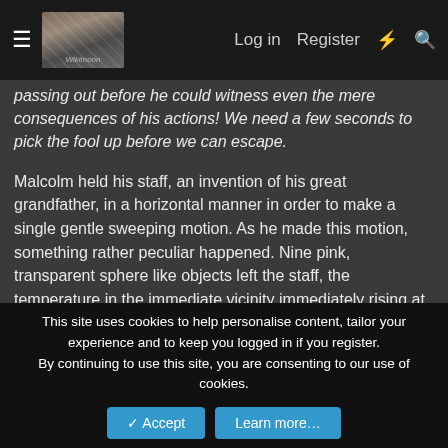≡  [logo image]  Log in  Register  ⚡  🔍
passing out before he could witness even the mere consequences of his actions! We need a few seconds to pick the fool up before we can escape.
Malcolm held his staff, an invention of his great grandfather, in a horizontal manner in order to make a single gentle sweeping motion. As he made this motion, something rather peculiar happened. Nine pink, transparent sphere like objects left the staff, the temperature in the immediate vicinity immediately rising at their presence. With a single flick from the other end of the staff, a mostly similar but light blue coloured sphere joined it's pink brethren, the very air itself distorting as it did so.
Spoiler: Skill used.
This site uses cookies to help personalise content, tailor your experience and to keep you logged in if you register.
By continuing to use this site, you are consenting to our use of cookies.
Accept  Learn more…